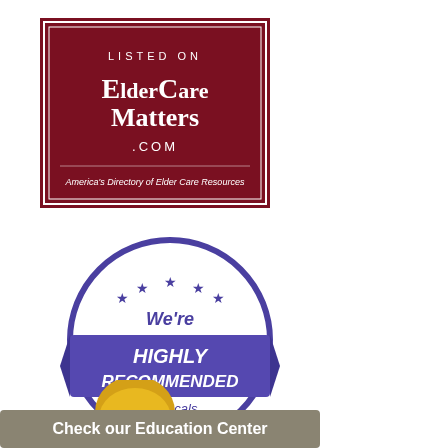[Figure (logo): ElderCare Matters badge — dark red background with white border, text 'LISTED ON ElderCare Matters .COM — America's Directory of Elder Care Resources']
[Figure (logo): Alignable badge — purple circular badge with stars and ribbon, text 'We're HIGHLY RECOMMENDED by Locals on Alignable']
[Figure (logo): Education center badge — gold sunburst at top, taupe/olive bar at bottom with text 'Check our Education Center']